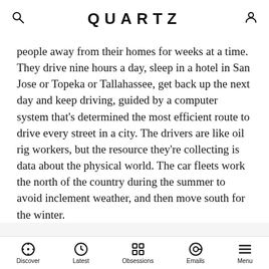QUARTZ
people away from their homes for weeks at a time. They drive nine hours a day, sleep in a hotel in San Jose or Topeka or Tallahassee, get back up the next day and keep driving, guided by a computer system that’s determined the most efficient route to drive every street in a city. The drivers are like oil rig workers, but the resource they’re collecting is data about the physical world. The car fleets work the north of the country during the summer to avoid inclement weather, and then move south for the winter.
ADVERTISEMENT
[Figure (other): Gizmodo advertisement banner, partially visible, showing the Gizmodo logo text in large bold black letters on white background with diagonal stripe pattern]
Discover  Latest  Obsessions  Emails  Menu